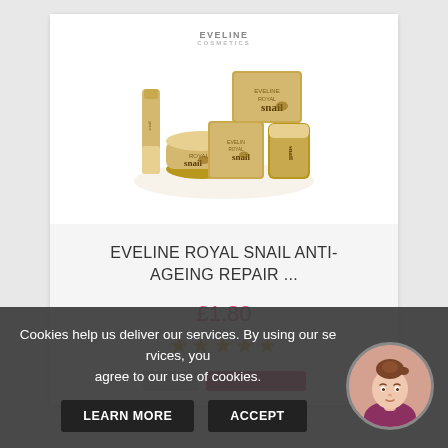[Figure (photo): Eveline Royal Snail skincare product set in gold packaging, multiple jars and tubes arranged together]
EVELINE ROYAL SNAIL ANTI-AGEING REPAIR ...
£1.80
★★★★★
Cookies help us deliver our services. By using our services, you agree to our use of cookies.
LEARN MORE
ACCEPT